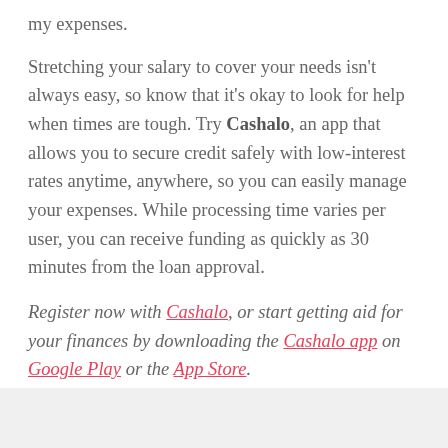my expenses.
Stretching your salary to cover your needs isn't always easy, so know that it's okay to look for help when times are tough. Try Cashalo, an app that allows you to secure credit safely with low-interest rates anytime, anywhere, so you can easily manage your expenses. While processing time varies per user, you can receive funding as quickly as 30 minutes from the loan approval.
Register now with Cashalo, or start getting aid for your finances by downloading the Cashalo app on Google Play or the App Store.